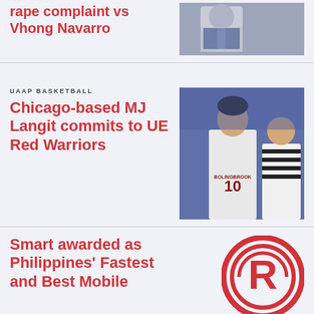rape complaint vs Vhong Navarro
[Figure (photo): Photo of a person seated, wearing a denim jacket, with blue chairs in background]
UAAP BASKETBALL
Chicago-based MJ Langit commits to UE Red Warriors
[Figure (photo): Young basketball player wearing Bolingbrook #10 jersey speaking with a referee in striped shirt]
Smart awarded as Philippines' Fastest and Best Mobile
[Figure (logo): Rappler logo - red circular R logo]